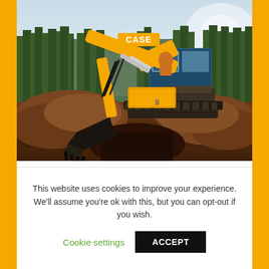[Figure (photo): A yellow CASE excavator digging in dirt with trees in the background. The machine arm is extended downward into a trench with earth piled up around it.]
Case to Host Virtual Event on Best Features, Options and Considerations for Backhoes
This website uses cookies to improve your experience. We'll assume you're ok with this, but you can opt-out if you wish.